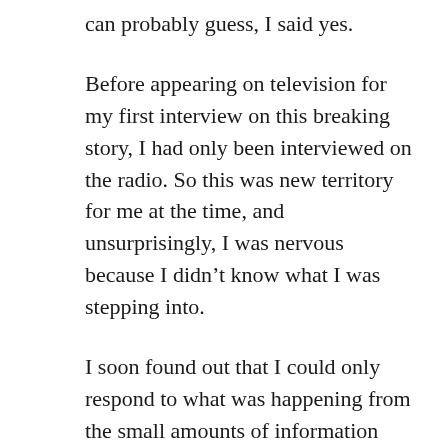can probably guess, I said yes.
Before appearing on television for my first interview on this breaking story, I had only been interviewed on the radio. So this was new territory for me at the time, and unsurprisingly, I was nervous because I didn't know what I was stepping into.
I soon found out that I could only respond to what was happening from the small amounts of information being fed through media about the incident. During interviews, I responded to questions in a simple but credible way by trying to explain what was happening with clarity and bring it back to its engineering basics.
I memorised relevant facts and prepared analogies that would be appropriate to the audience; this is